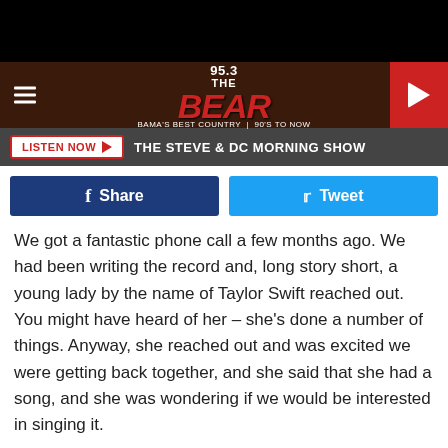[Figure (logo): 95.3 The Bear radio station logo banner with hamburger menu and play button]
LISTEN NOW ▶   THE STEVE & DC MORNING SHOW
[Figure (other): Facebook Share and Twitter Tweet social sharing buttons]
We got a fantastic phone call a few months ago. We had been writing the record and, long story short, a young lady by the name of Taylor Swift reached out. You might have heard of her – she's done a number of things. Anyway, she reached out and was excited we were getting back together, and she said that she had a song, and she was wondering if we would be interested in singing it.
The fun part of this is that we started out together with Taylor, around the same time, except she was 15, and we